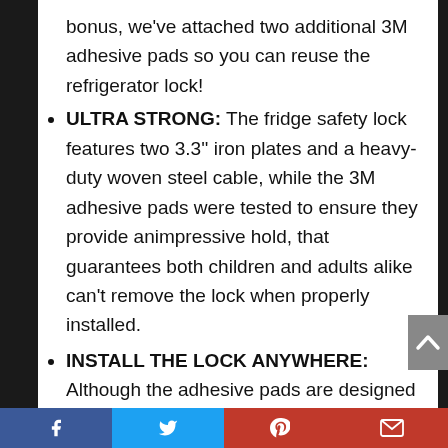bonus, we've attached two additional 3M adhesive pads so you can reuse the refrigerator lock!
ULTRA STRONG: The fridge safety lock features two 3.3'' iron plates and a heavy-duty woven steel cable, while the 3M adhesive pads were tested to ensure they provide animpressive hold, that guarantees both children and adults alike can't remove the lock when properly installed.
INSTALL THE LOCK ANYWHERE: Although the adhesive pads are designed to stick to any flat
Facebook Twitter Pinterest Email